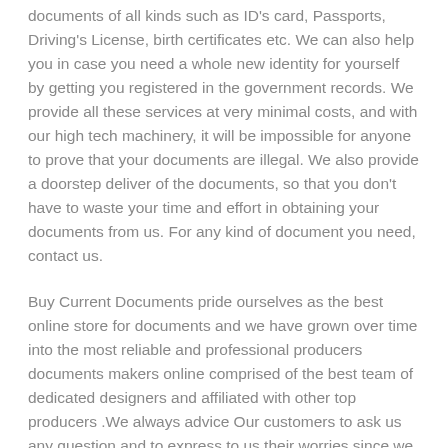documents of all kinds such as ID's card, Passports, Driving's License, birth certificates etc. We can also help you in case you need a whole new identity for yourself by getting you registered in the government records. We provide all these services at very minimal costs, and with our high tech machinery, it will be impossible for anyone to prove that your documents are illegal. We also provide a doorstep deliver of the documents, so that you don't have to waste your time and effort in obtaining your documents from us. For any kind of document you need, contact us.
Buy Current Documents pride ourselves as the best online store for documents and we have grown over time into the most reliable and professional producers documents makers online comprised of the best team of dedicated designers and affiliated with other top producers .We always advice Our customers to ask us any question and to express to us their worries since we do the best we can to satisfy them so that they can feel free to buy real documents.